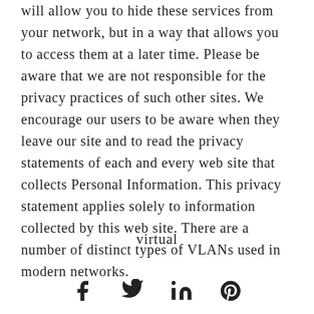will allow you to hide these services from your network, but in a way that allows you to access them at a later time. Please be aware that we are not responsible for the privacy practices of such other sites. We encourage our users to be aware when they leave our site and to read the privacy statements of each and every web site that collects Personal Information. This privacy statement applies solely to information collected by this web site. There are a number of distinct types of VLANs used in modern networks.
virtual
[Figure (other): Social media icons: Facebook (f), Twitter (bird), LinkedIn (in), Pinterest (P)]